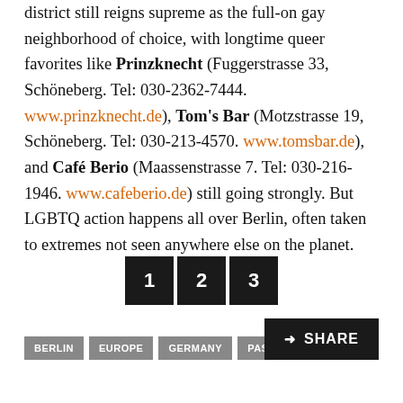district still reigns supreme as the full-on gay neighborhood of choice, with longtime queer favorites like Prinzknecht (Fuggerstrasse 33, Schöneberg. Tel: 030-2362-7444. www.prinzknecht.de), Tom's Bar (Motzstrasse 19, Schöneberg. Tel: 030-213-4570. www.tomsbar.de), and Café Berio (Maassenstrasse 7. Tel: 030-216-1946. www.cafeberio.de) still going strongly. But LGBTQ action happens all over Berlin, often taken to extremes not seen anywhere else on the planet.
1 2 3
BERLIN  EUROPE  GERMANY  PASSPORT  SHARE